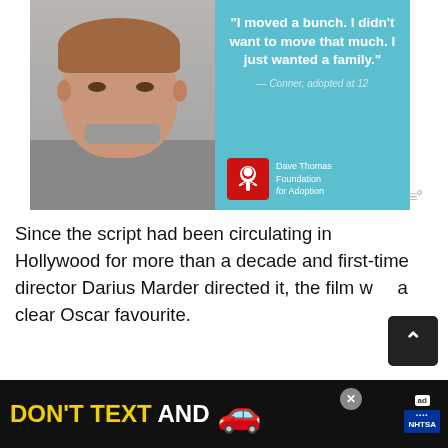[Figure (photo): Advertisement showing a young boy on the left against a grey background, and a teal/cyan panel on the right with a quote: "I moved a bunch. I didn't want to move that much. I just wanted a family." attributed to — Conner, adopted at 12. Dave Thomas Foundation for Adoption logo at bottom right of panel.]
Since the script had been circulating in Hollywood for more than a decade and first-time director Darius Marder directed it, the film w a clear Oscar favourite.
Moreover, the role of Ruben was difficult to cast,
[Figure (photo): NHTSA advertisement banner at the bottom: 'DON'T TEXT AND' in yellow/white bold text with a red car emoji, and the NHTSA logo on the right.]